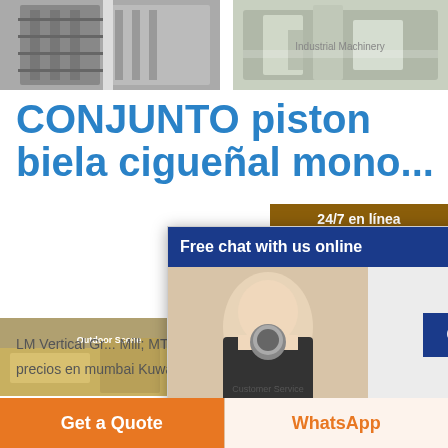[Figure (photo): Building exterior with fire escape ladders, black and white photo]
[Figure (photo): Industrial machinery inside a factory, color photo]
CONJUNTO piston biela cigueñal mono...
LM Vertical Grinding Mill; MTM Trapezium Grinder; ... amoladora cigueñal precios en mumbai Kuwait modular oro ...
[Figure (screenshot): Free chat with us online popup with a smiling customer service agent wearing headset and a CHAT NOW button]
[Figure (screenshot): 24/7 en línea side widget with blonde agent wearing headset. Text: Precio y el soporte técnico están disponibles. Button: Estimaciones]
[Figure (photo): Bottom left photo - outdoor industrial scene]
[Figure (photo): Bottom right photo - workers in hard hats]
Get a Quote
WhatsApp